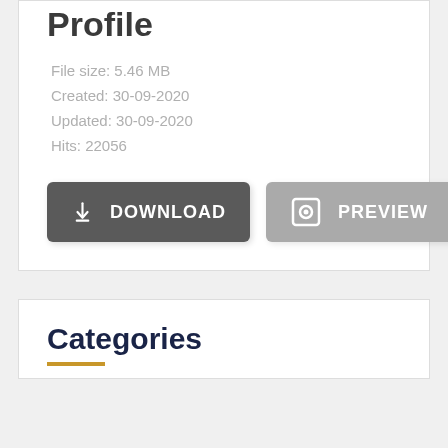Profile
File size: 5.46 MB
Created: 30-09-2020
Updated: 30-09-2020
Hits: 22056
[Figure (other): Download button (dark grey) and Preview button (light grey) side by side]
Categories